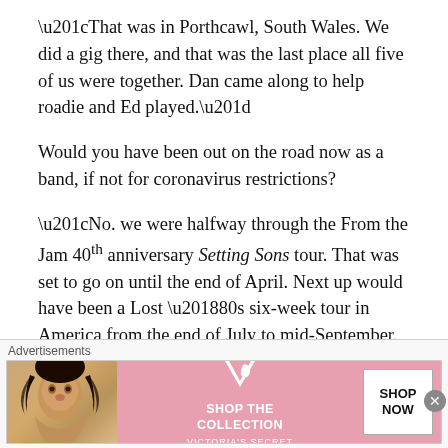“That was in Porthcawl, South Wales. We did a gig there, and that was the last place all five of us were together. Dan came along to help roadie and Ed played.”
Would you have been out on the road now as a band, if not for coronavirus restrictions?
“No. we were halfway through the From the Jam 40th anniversary Setting Sons tour. That was set to go on until the end of April. Next up would have been a Lost ‘80s six-week tour in America from the end of July to mid-September.
“We were then set to tour in October/November /December to play stuff from the new album and mark the
[Figure (other): Victoria's Secret advertisement banner with a woman's photo on the left, VS logo and 'SHOP THE COLLECTION' text in the middle on a pink background, and a 'SHOP NOW' button on the right. Labeled 'Advertisements' above.]